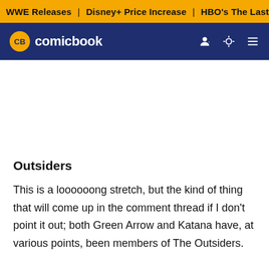WWE Releases | Disney+ Price Increase | HBO's The Last of
CB comicbook
Outsiders
This is a loooooong stretch, but the kind of thing that will come up in the comment thread if I don't point it out; both Green Arrow and Katana have, at various points, been members of The Outsiders.